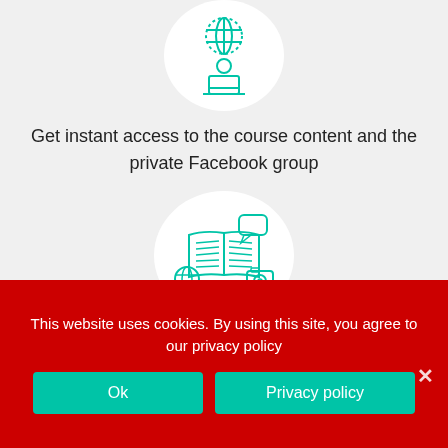[Figure (illustration): Teal outline icon of a person with a globe above their head and a laptop, inside a white circle, on a light gray background (partially cropped at top)]
Get instant access to the course content and the private Facebook group
[Figure (illustration): Teal outline icon of an open book with social media icons (speech bubble, globe, camera) around it, inside a white circle, on a light gray background]
This website uses cookies. By using this site, you agree to our privacy policy